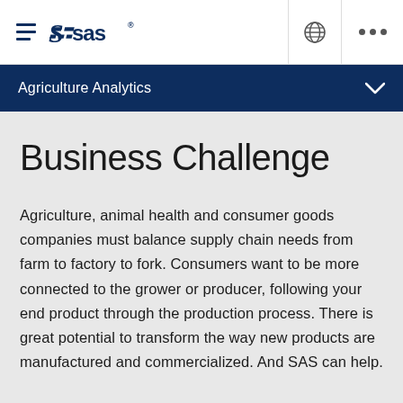SAS — Agriculture Analytics
Business Challenge
Agriculture, animal health and consumer goods companies must balance supply chain needs from farm to factory to fork. Consumers want to be more connected to the grower or producer, following your end product through the production process. There is great potential to transform the way new products are manufactured and commercialized. And SAS can help.